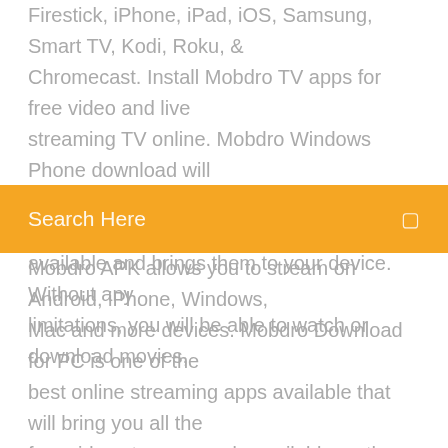Firestick, iPhone, iPad, iOS, Samsung, Smart TV, Kodi, Roku, & Chromecast. Install Mobdro TV apps for free video and live streaming TV online. Mobdro Windows Phone download will constantly search the internet for the best free video streams available and brings them to your device. Without any limitations, you will be able to watch or download movies,
[Figure (other): Orange search bar with 'Search Here' placeholder text and a small icon on the right]
Mobdro APK allows you to stream on Android, iPhone, Windows, Mac and more devices. Mobdro Download for PC is one of the best online streaming apps available that will bring you all the free video streams made available on the web. Stay on your comfort place and watch the videos, tv shows, and more other video streams with an internet connection for free from anywhere in the world. Mobdro app is an entertaining app and there are a lot of features provide the best experience to the users. There are different types of channels provides different types of videos for the users. Before explaining more about the